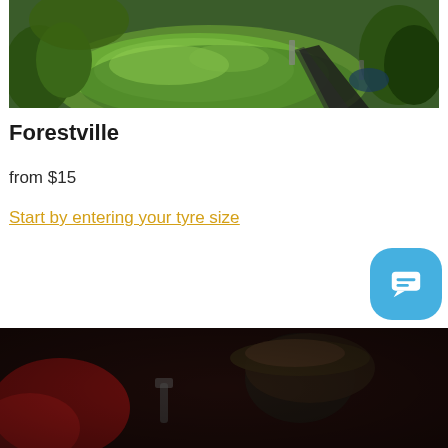[Figure (photo): Aerial view of a green garden/park area with lawn, trees, and a pathway, taken from above]
Forestville
from $15
Start by entering your tyre size
[Figure (photo): Dark blurred photo showing a person wearing a hat, appears to be a mechanic or tyre service worker]